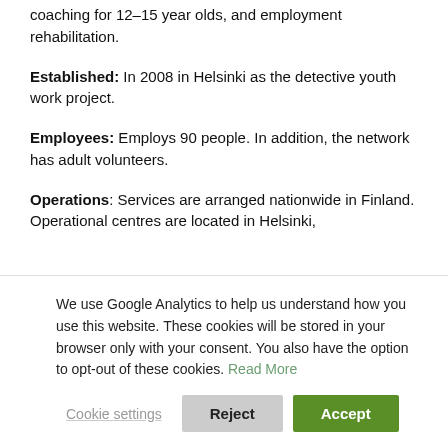coaching for 12-15 year olds, and employment rehabilitation.
Established: In 2008 in Helsinki as the detective youth work project.
Employees: Employs 90 people. In addition, the network has adult volunteers.
Operations: Services are arranged nationwide in Finland. Operational centres are located in Helsinki,
We use Google Analytics to help us understand how you use this website. These cookies will be stored in your browser only with your consent. You also have the option to opt-out of these cookies. Read More
Cookie settings | Reject | Accept